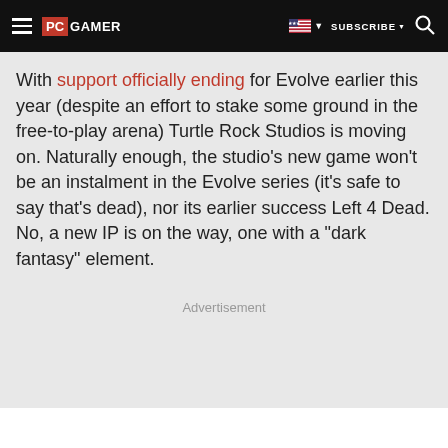PC GAMER | SUBSCRIBE
With support officially ending for Evolve earlier this year (despite an effort to stake some ground in the free-to-play arena) Turtle Rock Studios is moving on. Naturally enough, the studio's new game won't be an instalment in the Evolve series (it's safe to say that's dead), nor its earlier success Left 4 Dead. No, a new IP is on the way, one with a "dark fantasy" element.
Advertisement